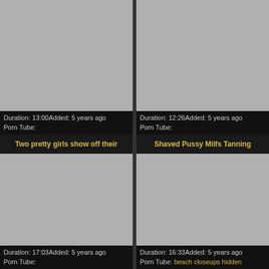[Figure (photo): Gray placeholder thumbnail, top-left]
Duration: 13:00Added: 5 years ago
Porn Tube:
[Figure (photo): Gray placeholder thumbnail, top-right]
Duration: 12:26Added: 5 years ago
Porn Tube:
Two pretty girls show off their
[Figure (photo): Gray placeholder thumbnail, bottom-left]
Duration: 17:03Added: 5 years ago
Porn Tube:
Shaved Pussy Milfs Tanning
[Figure (photo): Gray placeholder thumbnail, bottom-right]
Duration: 16:33Added: 5 years ago
Porn Tube: beach closeups hidden